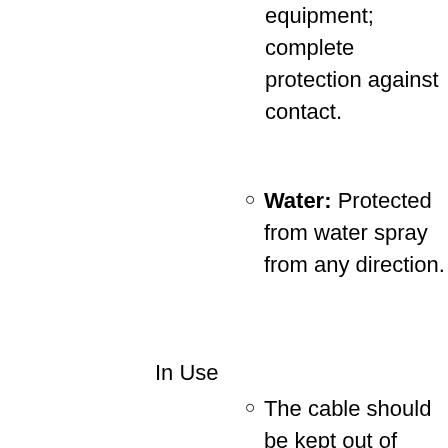equipment; complete protection against contact.
Water: Protected from water spray from any direction.
In Use
The cable should be kept out of